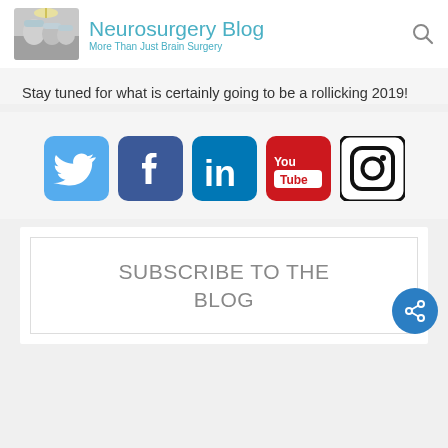Neurosurgery Blog — More Than Just Brain Surgery
Stay tuned for what is certainly going to be a rollicking 2019!
[Figure (infographic): Social media icons: Twitter (light blue rounded square), Facebook (dark blue rounded square), LinkedIn (blue rounded square), YouTube (red rounded square), Instagram (black outline rounded square)]
SUBSCRIBE TO THE BLOG